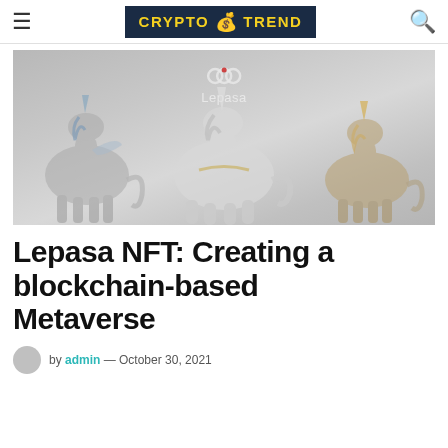CRYPTO TREND
[Figure (photo): Hero image showing three stylized unicorn figures (NFT art) against a grey background, with the Lepasa logo (three interlocked circles with a red dot) and text 'Lepasa' centered at the top of the image.]
Lepasa NFT: Creating a blockchain-based Metaverse
by admin — October 30, 2021